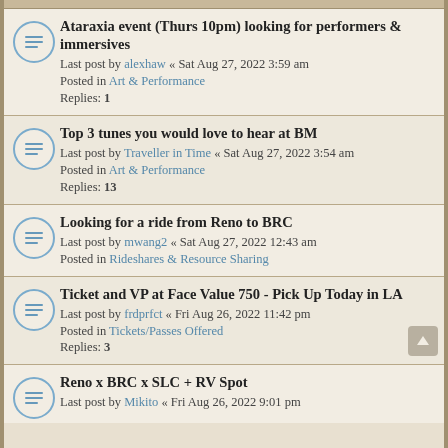Ataraxia event (Thurs 10pm) looking for performers & immersives
Last post by alexhaw « Sat Aug 27, 2022 3:59 am
Posted in Art & Performance
Replies: 1
Top 3 tunes you would love to hear at BM
Last post by Traveller in Time « Sat Aug 27, 2022 3:54 am
Posted in Art & Performance
Replies: 13
Looking for a ride from Reno to BRC
Last post by mwang2 « Sat Aug 27, 2022 12:43 am
Posted in Rideshares & Resource Sharing
Ticket and VP at Face Value 750 - Pick Up Today in LA
Last post by frdprfct « Fri Aug 26, 2022 11:42 pm
Posted in Tickets/Passes Offered
Replies: 3
Reno x BRC x SLC + RV Spot
Last post by Mikito « Fri Aug 26, 2022 9:01 pm